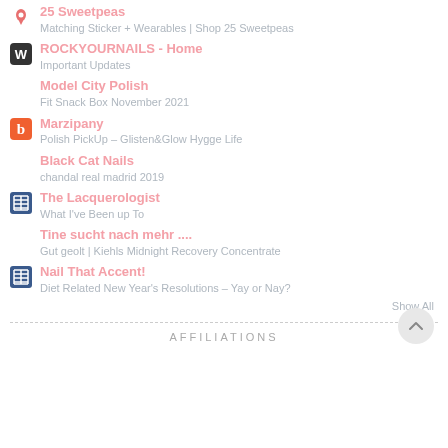25 Sweetpeas
Matching Sticker + Wearables | Shop 25 Sweetpeas
ROCKYOURNAILS - Home
Important Updates
Model City Polish
Fit Snack Box November 2021
Marzipany
Polish PickUp – Glisten&Glow Hygge Life
Black Cat Nails
chandal real madrid 2019
The Lacquerologist
What I've Been up To
Tine sucht nach mehr ....
Gut geolt | Kiehls Midnight Recovery Concentrate
Nail That Accent!
Diet Related New Year's Resolutions – Yay or Nay?
Show All
AFFILIATIONS